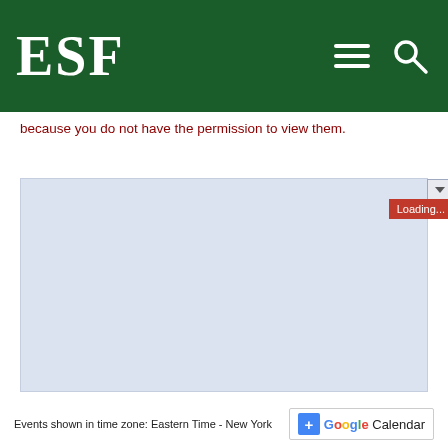ESF
because you do not have the permission to view them.
[Figure (screenshot): Google Calendar embed area showing a loading state with light blue/lavender background and a red 'Loading...' button in the upper right corner, with a dropdown arrow button.]
Events shown in time zone: Eastern Time - New York  + Google Calendar